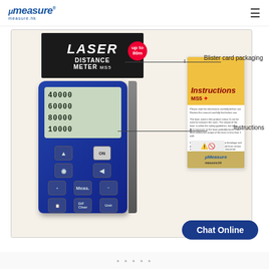μMeasure measure.hk
[Figure (photo): Product photo of a laser distance meter (MS5) in blister card packaging, shown alongside an instruction booklet. Callout lines label 'Blister card packaging' and 'Instructions'.]
Blister card packaging
Instructions
Chat Online